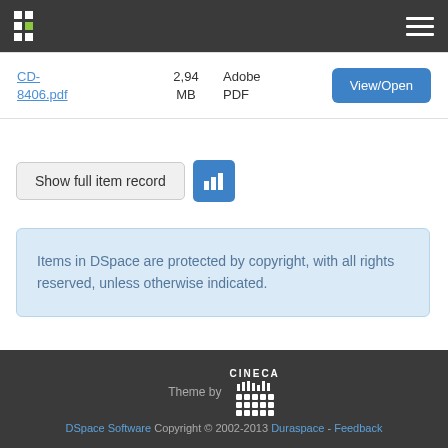DSpace navigation header with logo and menu
| File | Size | Format | Action |
| --- | --- | --- | --- |
| CD-8406.pdf | 2,94 MB | Adobe PDF | View/Open |
Show full item record
Items in DSpace are protected by copyright, with all rights reserved, unless otherwise indicated.
Theme by CINECA  DSpace Software Copyright © 2002-2013  Duraspace - Feedback